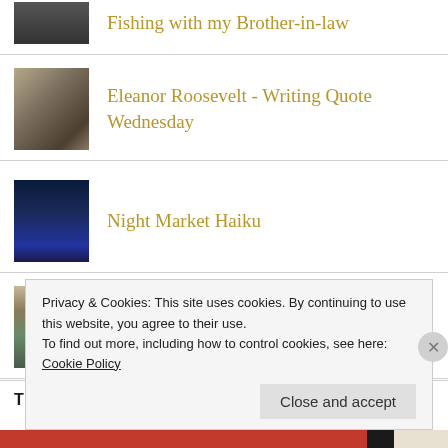Fishing with my Brother-in-law
Eleanor Roosevelt - Writing Quote Wednesday
Night Market Haiku
GLITCH! The Week of Breaking Down
THESE STORIES ARE THE WILDEST. TOO!
Privacy & Cookies: This site uses cookies. By continuing to use this website, you agree to their use.
To find out more, including how to control cookies, see here: Cookie Policy
Close and accept